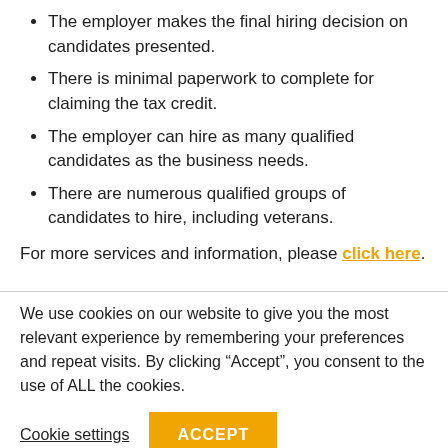The employer makes the final hiring decision on candidates presented.
There is minimal paperwork to complete for claiming the tax credit.
The employer can hire as many qualified candidates as the business needs.
There are numerous qualified groups of candidates to hire, including veterans.
For more services and information, please click here.
We use cookies on our website to give you the most relevant experience by remembering your preferences and repeat visits. By clicking “Accept”, you consent to the use of ALL the cookies.
Cookie settings
ACCEPT